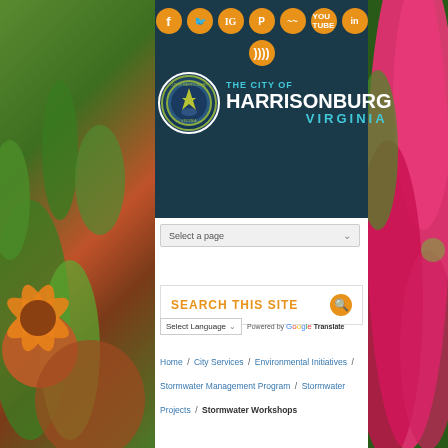[Figure (screenshot): City of Harrisonburg Virginia government website header with social media icons, city seal, and navigation elements including search bar, language selector, and breadcrumb navigation on a background of pink flowers]
THE CITY OF HARRISONBURG VIRGINIA
Select a page
SEARCH THIS SITE
Select Language — Powered by Google Translate
Home / City Services / Environmental Initiatives / Stormwater Management Program / Stormwater Projects / Stormwater Workshops